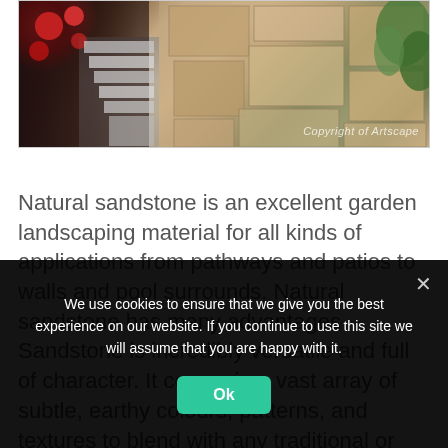[Figure (photo): Outdoor garden photo showing a sandstone patio/pathway with stairs, flowers (red), green plants, and a 'Copyright of Artscape' watermark in the bottom right corner.]
Natural sandstone is an excellent garden landscaping material for all kinds of applications from pathways and patios to walls and pool surrounds. Natural sandstone has many advantages Sandstone is incredibly versatile and full of character. It comes in a vast array of subtle, earthy colours, patterns, and textures to blend with any traditional or contemporary setting. [...]
We use cookies to ensure that we give you the best experience on our website. If you continue to use this site we will assume that you are happy with it.